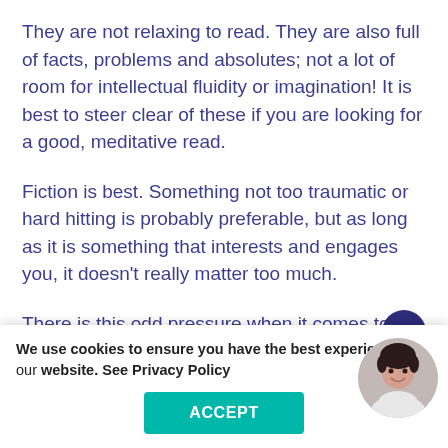They are not relaxing to read. They are also full of facts, problems and absolutes; not a lot of room for intellectual fluidity or imagination! It is best to steer clear of these if you are looking for a good, meditative read.
Fiction is best. Something not too traumatic or hard hitting is probably preferable, but as long as it is something that interests and engages you, it doesn't really matter too much.
There is this odd pressure when it comes to reading, we can become preoccupied reading as many books as possible, treating them in some sort of competition. What does that really achieve other than being able to say that
We use cookies to ensure you have the best experience on our website. See Privacy Policy
ACCEPT